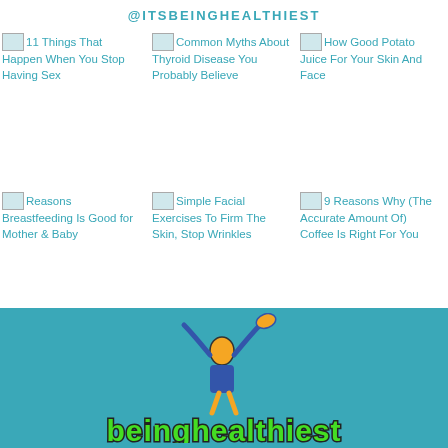@ITSBEINGHEALTHIEST
[Figure (screenshot): Grid of 6 article thumbnails with broken image icons and teal link text. Row 1: '11 Things That Happen When You Stop Having Sex', 'Common Myths About Thyroid Disease You Probably Believe', 'How Good Potato Juice For Your Skin And Face'. Row 2: 'Reasons Breastfeeding Is Good for Mother & Baby', 'Simple Facial Exercises To Firm The Skin, Stop Wrinkles', '9 Reasons Why (The Accurate Amount Of) Coffee Is Right For You'.]
[Figure (logo): Beinghealthiest logo on teal background with illustrated character and green styled text 'beinghealthiest']